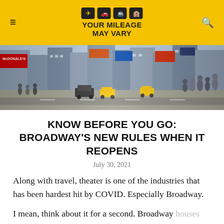YOUR MILEAGE MAY VARY
[Figure (photo): Aerial view of a busy New York City street (Times Square area) with yellow taxis, crowds of pedestrians, billboards, and tall buildings.]
KNOW BEFORE YOU GO: BROADWAY'S NEW RULES WHEN IT REOPENS
July 30, 2021
Along with travel, theater is one of the industries that has been hardest hit by COVID. Especially Broadway.
I mean, think about it for a second. Broadway houses hold anywhere between 600 and 1,900 people, indoors, sitting right next to each other.